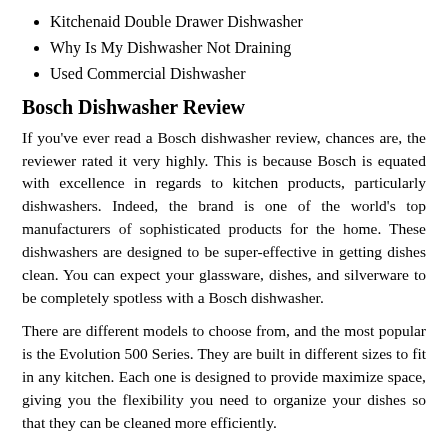Kitchenaid Double Drawer Dishwasher
Why Is My Dishwasher Not Draining
Used Commercial Dishwasher
Bosch Dishwasher Review
If you've ever read a Bosch dishwasher review, chances are, the reviewer rated it very highly. This is because Bosch is equated with excellence in regards to kitchen products, particularly dishwashers. Indeed, the brand is one of the world's top manufacturers of sophisticated products for the home. These dishwashers are designed to be super-effective in getting dishes clean. You can expect your glassware, dishes, and silverware to be completely spotless with a Bosch dishwasher.
There are different models to choose from, and the most popular is the Evolution 500 Series. They are built in different sizes to fit in any kitchen. Each one is designed to provide maximize space, giving you the flexibility you need to organize your dishes so that they can be cleaned more efficiently.
This Bosch dishwasher review will highlight the benefits of the Evolution 500 Series:
Attractive, stainless steel design